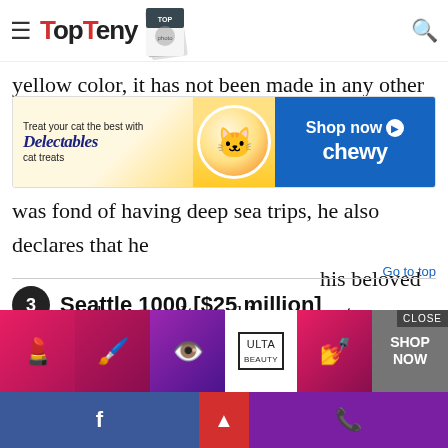TopTeny
yellow color, it has not been made in any other color ... at sea up to a week since Allen was fond of having deep sea trips, he also declares that he ... his beloved yellow submarine. It would not come to our surprise to know that Paul Allen is actually a member of a small, exclusive clique of ultra-rich underwater explorers.
[Figure (other): Advertisement banner: Treat your cat the best with Delectables cat treats - Shop now Chewy]
Go to top
3  Seattle 1000 [$25 million]
[Figure (other): ULTA advertisement banner with makeup/beauty images and Shop Now button]
Facebook icon | CLOSE | Phone icon | Up arrow